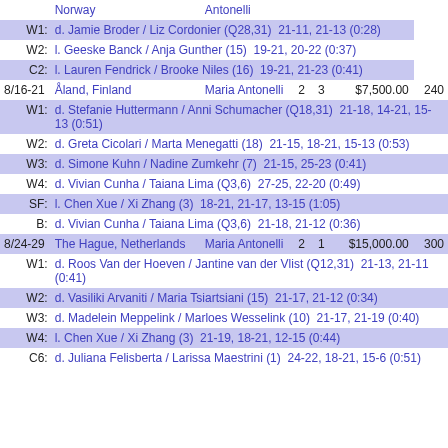|  | Norway | Antonelli |
| W1: | d. Jamie Broder / Liz Cordonier (Q28,31) 21-11, 21-13 (0:28) |  |
| W2: | l. Geeske Banck / Anja Gunther (15) 19-21, 20-22 (0:37) |  |
| C2: | l. Lauren Fendrick / Brooke Niles (16) 19-21, 21-23 (0:41) |  |
| 8/16-21 | Åland, Finland | Maria Antonelli | 2 | 3 | $7,500.00 | 240 |
| W1: | d. Stefanie Huttermann / Anni Schumacher (Q18,31) 21-18, 14-21, 15-13 (0:51) |  |
| W2: | d. Greta Cicolari / Marta Menegatti (18) 21-15, 18-21, 15-13 (0:53) |  |
| W3: | d. Simone Kuhn / Nadine Zumkehr (7) 21-15, 25-23 (0:41) |  |
| W4: | d. Vivian Cunha / Taiana Lima (Q3,6) 27-25, 22-20 (0:49) |  |
| SF: | l. Chen Xue / Xi Zhang (3) 18-21, 21-17, 13-15 (1:05) |  |
| B: | d. Vivian Cunha / Taiana Lima (Q3,6) 21-18, 21-12 (0:36) |  |
| 8/24-29 | The Hague, Netherlands | Maria Antonelli | 2 | 1 | $15,000.00 | 300 |
| W1: | d. Roos Van der Hoeven / Jantine van der Vlist (Q12,31) 21-13, 21-11 (0:41) |  |
| W2: | d. Vasiliki Arvaniti / Maria Tsiartsiani (15) 21-17, 21-12 (0:34) |  |
| W3: | d. Madelein Meppelink / Marloes Wesselink (10) 21-17, 21-19 (0:40) |  |
| W4: | l. Chen Xue / Xi Zhang (3) 21-19, 18-21, 12-15 (0:44) |  |
| C6: | d. Juliana Felisberta / Larissa Maestrini (1) 24-22, 18-21, 15-6 (0:51) |  |